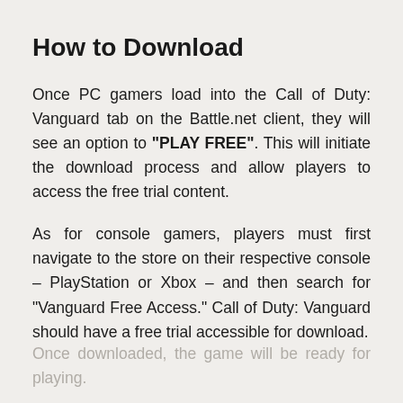How to Download
Once PC gamers load into the Call of Duty: Vanguard tab on the Battle.net client, they will see an option to "PLAY FREE". This will initiate the download process and allow players to access the free trial content.
As for console gamers, players must first navigate to the store on their respective console – PlayStation or Xbox – and then search for "Vanguard Free Access." Call of Duty: Vanguard should have a free trial accessible for download.
Once downloaded, the game will be ready for playing.